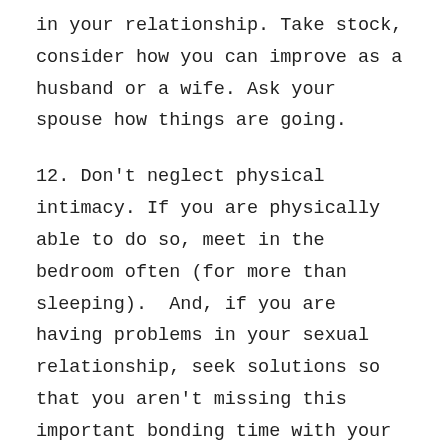in your relationship. Take stock, consider how you can improve as a husband or a wife. Ask your spouse how things are going.
12. Don't neglect physical intimacy. If you are physically able to do so, meet in the bedroom often (for more than sleeping).  And, if you are having problems in your sexual relationship, seek solutions so that you aren't missing this important bonding time with your spouse.
13. Enjoy your children together. Plan outings for the whole family.  It doesn't have to be a parents-only date to be romantic. Some of my favorite memories of Chad lean more toward bowling with the kids